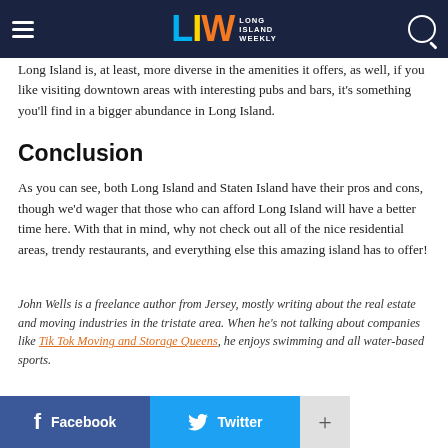Long Island Weekly – navigation bar with logo
Long Island is, at least, more diverse in the amenities it offers, as well, if you like visiting downtown areas with interesting pubs and bars, it's something you'll find in a bigger abundance in Long Island.
Conclusion
As you can see, both Long Island and Staten Island have their pros and cons, though we'd wager that those who can afford Long Island will have a better time here. With that in mind, why not check out all of the nice residential areas, trendy restaurants, and everything else this amazing island has to offer!
John Wells is a freelance author from Jersey, mostly writing about the real estate and moving industries in the tristate area. When he's not talking about companies like Tik Tok Moving and Storage Queens, he enjoys swimming and all water-based sports.
Facebook   Twitter   +